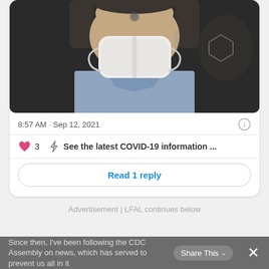[Figure (photo): Person wearing a white face mask, seated, wearing blue shirt. Partial face visible with mask covering nose and mouth.]
8:57 AM · Sep 12, 2021
3   See the latest COVID-19 information ...
Read 1 reply
Advertisement | LFAL continues below
Since then, I've been following the CDC Assembly on news, which has served to prevent us all in it